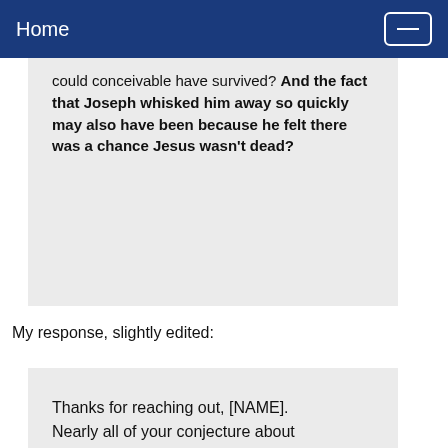Home
could conceivable have survived? And the fact that Joseph whisked him away so quickly may also have been because he felt there was a chance Jesus wasn't dead?
My response, slightly edited:
Thanks for reaching out, [NAME]. Nearly all of your conjecture about